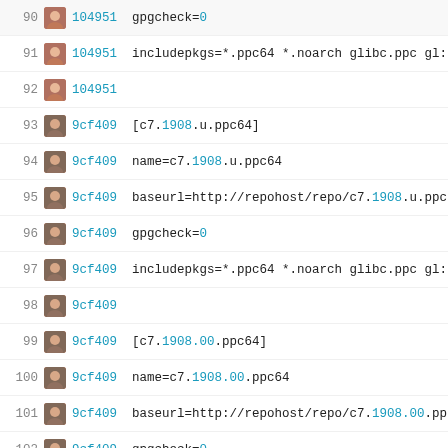90 104951 gpgcheck=0
91 104951 includepkgs=*.ppc64 *.noarch glibc.ppc gl:
92 104951
93 9cf409 [c7.1908.u.ppc64]
94 9cf409 name=c7.1908.u.ppc64
95 9cf409 baseurl=http://repohost/repo/c7.1908.u.ppc
96 9cf409 gpgcheck=0
97 9cf409 includepkgs=*.ppc64 *.noarch glibc.ppc gl:
98 9cf409
99 9cf409 [c7.1908.00.ppc64]
100 9cf409 name=c7.1908.00.ppc64
101 9cf409 baseurl=http://repohost/repo/c7.1908.00.pp
102 9cf409 gpgcheck=0
103 9cf409 includepkgs=*.ppc64 *.noarch glibc.ppc gl:
104 9cf409
105 9cf409 [c7.2003.u.ppc64]
106 9cf409 name=c7.2003.u.ppc64
107 9cf409 baseurl=http://repohost/repo/c7.2003.u.ppc
108 9cf409 gpgcheck=0
109 9cf409 includepkgs=*.ppc64 *.noarch glibc.ppc gl:
110 9cf409
111 9cf409 [c7.2003.00.ppc64]